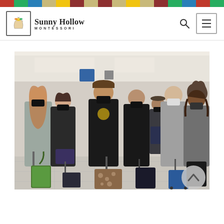[Figure (other): Colorful horizontal bar at the top of the page with segments in red, green, blue, tan, yellow, dark red, tan, dark red, tan, yellow, tan, dark red, green, blue, red, green colors]
[Figure (logo): Sunny Hollow Montessori school logo with a hand and butterfly icon in a square border, with brand name 'Sunny Hollow Montessori' in serif font]
[Figure (photo): Group of students and adults wearing black face masks standing in an airport terminal with luggage and backpacks. About 8-9 people of various ages, with rolling suitcases and backpacks on the floor in front of them.]